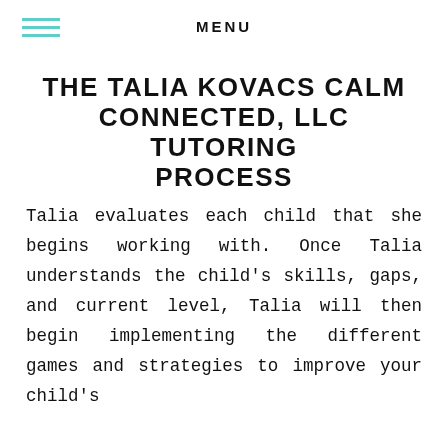MENU
THE TALIA KOVACS CALM CONNECTED, LLC TUTORING PROCESS
Talia evaluates each child that she begins working with. Once Talia understands the child's skills, gaps, and current level, Talia will then begin implementing the different games and strategies to improve your child's